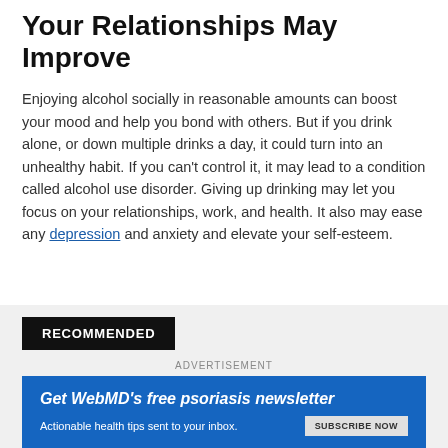Your Relationships May Improve
Enjoying alcohol socially in reasonable amounts can boost your mood and help you bond with others. But if you drink alone, or down multiple drinks a day, it could turn into an unhealthy habit. If you can't control it, it may lead to a condition called alcohol use disorder. Giving up drinking may let you focus on your relationships, work, and health. It also may ease any depression and anxiety and elevate your self-esteem.
RECOMMENDED
ADVERTISEMENT
[Figure (other): WebMD advertisement banner: Get WebMD's free psoriasis newsletter. Actionable health tips sent to your inbox. Subscribe Now button.]